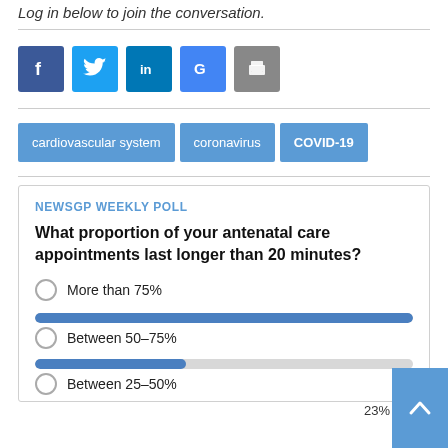Log in below to join the conversation.
[Figure (other): Social media login icons: Facebook (f), Twitter (bird), LinkedIn (in), Google (G), and a print/share icon]
cardiovascular system
coronavirus
COVID-19
NEWSGP WEEKLY POLL
What proportion of your antenatal care appointments last longer than 20 minutes?
More than 75%
Between 50–75%
Between 25–50%